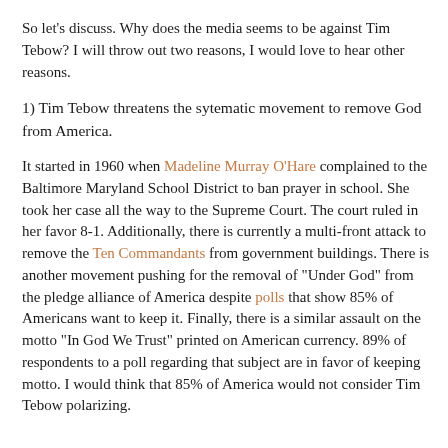So let's discuss. Why does the media seems to be against Tim Tebow? I will throw out two reasons, I would love to hear other reasons.
1) Tim Tebow threatens the sytematic movement to remove God from America.
It started in 1960 when Madeline Murray O'Hare complained to the Baltimore Maryland School District to ban prayer in school. She took her case all the way to the Supreme Court. The court ruled in her favor 8-1. Additionally, there is currently a multi-front attack to remove the Ten Commandants from government buildings. There is another movement pushing for the removal of "Under God" from the pledge alliance of America despite polls that show 85% of Americans want to keep it. Finally, there is a similar assault on the motto "In God We Trust" printed on American currency. 89% of respondents to a poll regarding that subject are in favor of keeping motto. I would think that 85% of America would not consider Tim Tebow polarizing.